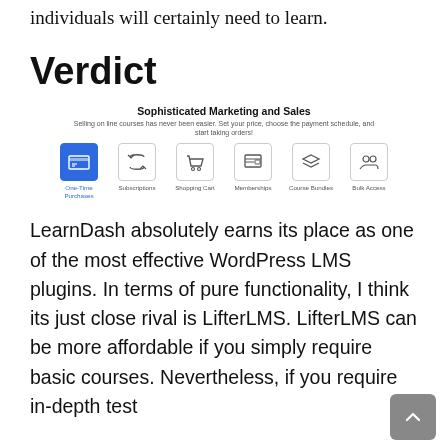individuals will certainly need to learn.
Verdict
[Figure (infographic): Sophisticated Marketing and Sales feature panel showing six icons: One-Time Purchases (highlighted blue), Subscriptions, Shopping Cart, Memberships, Course Bundles, Bulk Access. Title: Sophisticated Marketing and Sales. Subtitle: Selling on line courses has never been easier. Set your price, choose the payment schedule, and start taking orders!]
LearnDash absolutely earns its place as one of the most effective WordPress LMS plugins. In terms of pure functionality, I think its just close rival is LifterLMS. LifterLMS can be more affordable if you simply require basic courses. Nevertheless, if you require in-depth test